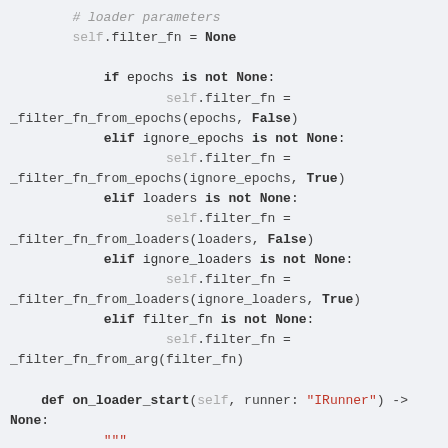# loader parameters
        self.filter_fn = None

            if epochs is not None:
                    self.filter_fn =
_filter_fn_from_epochs(epochs, False)
            elif ignore_epochs is not None:
                    self.filter_fn =
_filter_fn_from_epochs(ignore_epochs, True)
            elif loaders is not None:
                    self.filter_fn =
_filter_fn_from_loaders(loaders, False)
            elif ignore_loaders is not None:
                    self.filter_fn =
_filter_fn_from_loaders(ignore_loaders, True)
            elif filter_fn is not None:
                    self.filter_fn =
_filter_fn_from_arg(filter_fn)

        def on_loader_start(self, runner: "IRunner") -> None:
            """
            Check if current epoch should be skipped.

            Args:
                runner: current runner